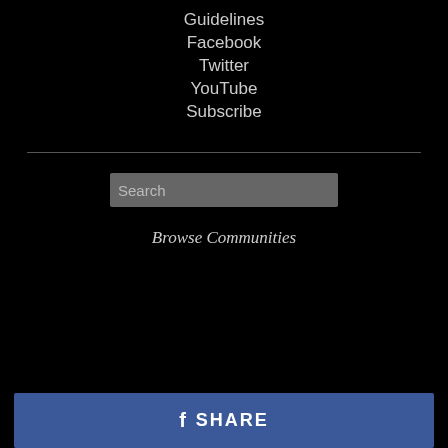Guidelines
Facebook
Twitter
YouTube
Subscribe
Search
Browse Communities
SHARE